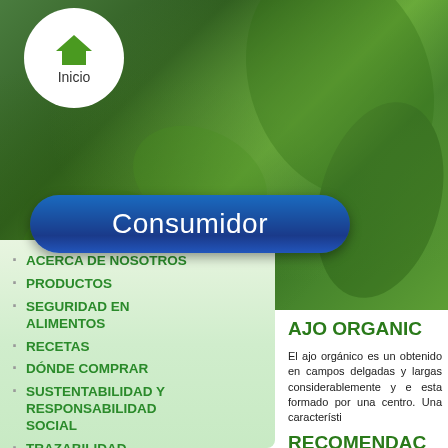[Figure (photo): Background photo of green vegetable plants/leaves in a field]
[Figure (illustration): White circle with green house icon above text 'Inicio']
Consumidor
ACERCA DE NOSOTROS
PRODUCTOS
SEGURIDAD EN ALIMENTOS
RECETAS
DÓNDE COMPRAR
SUSTENTABILIDAD Y RESPONSABILIDAD SOCIAL
TRAZABILIDAD
NOTICIAS
PREGUNTAS FRECUENTES
AJO ORGANIC
El ajo orgánico es un obtenido en campos delgadas y largas considerablemente y e esta formado por una centro. Una característi
RECOMENDAC
El ajo orgánico se deb